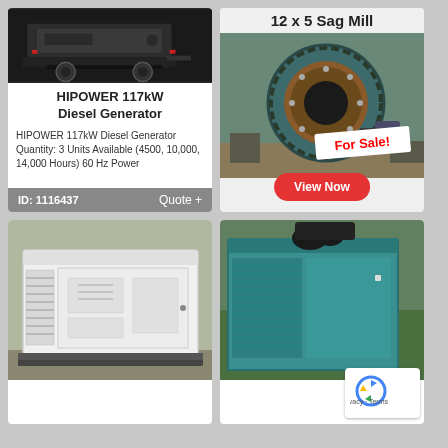[Figure (photo): Black trailer/equipment on pavement - top image of HIPOWER generator card]
HIPOWER 117kW Diesel Generator
HIPOWER 117kW Diesel Generator Quantity: 3 Units Available (4500, 10,000, 14,000 Hours) 60 Hz Power
ID: 1116437    Quote +
12 x 5 Sag Mill
[Figure (photo): Large green/teal SAG mill drum with 'For Sale!' banner, with 'View Now' red button below]
[Figure (photo): White enclosed diesel generator unit on skid]
[Figure (photo): Teal/turquoise industrial container/switchgear unit with recaptcha badge overlay]